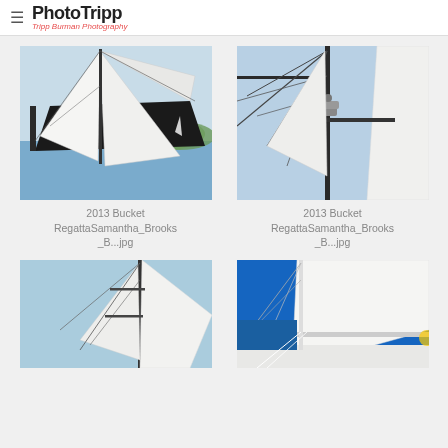PhotoTripp — Tripp Burman Photography
[Figure (photo): Sailing yacht with large dark hull and white sails, close-up view from water level, green hills in background]
2013 Bucket RegattaSamantha_Brooks_B...jpg
[Figure (photo): Close-up of sailing yacht mast and rigging with white sails against blue sky]
2013 Bucket RegattaSamantha_Brooks_B...jpg
[Figure (photo): Tall sailing yacht mast with white sail against clear blue sky, partial view]
[Figure (photo): Sailing yacht with large white sails and blue hull, close-up deck and rigging view]